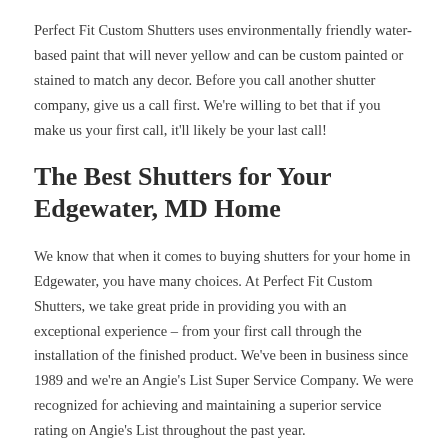Perfect Fit Custom Shutters uses environmentally friendly water-based paint that will never yellow and can be custom painted or stained to match any decor. Before you call another shutter company, give us a call first. We're willing to bet that if you make us your first call, it'll likely be your last call!
The Best Shutters for Your Edgewater, MD Home
We know that when it comes to buying shutters for your home in Edgewater, you have many choices. At Perfect Fit Custom Shutters, we take great pride in providing you with an exceptional experience – from your first call through the installation of the finished product. We've been in business since 1989 and we're an Angie's List Super Service Company. We were recognized for achieving and maintaining a superior service rating on Angie's List throughout the past year.